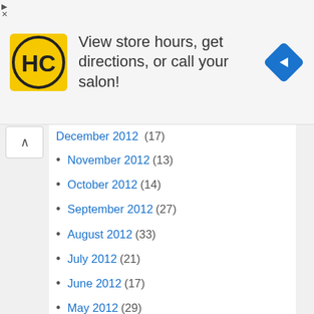[Figure (illustration): Advertisement banner: HC logo (black H and C on yellow background), text 'View store hours, get directions, or call your salon!', blue diamond navigation icon on the right]
December 2012 (17)
November 2012 (13)
October 2012 (14)
September 2012 (27)
August 2012 (33)
July 2012 (21)
June 2012 (17)
May 2012 (29)
April 2012 (35)
March 2012 (31)
February 2012 (24)
January 2012 (22)
December 2011 (19)
November 2011 (25)
October 2011 (13)